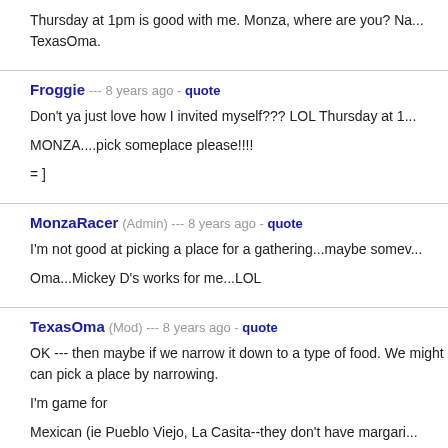Thursday at 1pm is good with me. Monza, where are you? Na... TexasOma.
Froggie --- 8 years ago - quote
Don't ya just love how I invited myself??? LOL Thursday at 1...
MONZA....pick someplace please!!!!
= ]
MonzaRacer (Admin) --- 8 years ago - quote
I'm not good at picking a place for a gathering...maybe somev...
Oma...Mickey D's works for me...LOL
TexasOma (Mod) --- 8 years ago - quote
OK --- then maybe if we narrow it down to a type of food. We might can pick a place by narrowing.
I'm game for
Mexican (ie Pueblo Viejo, La Casita--they don't have margari...
Italian (ie Italiano's -- Carrabba's is too expensive IMO)
Sushi (JoJo's on 59--they have other Chinese foods there too...